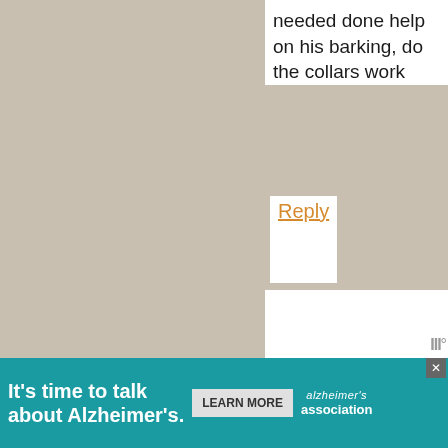needed done help on his barking, do the collars work
Reply
Faith Henry says
March 29, 2019 at 8:00 AM
We love our lil Doxie. He is stubborn. I tell my husband all the time he learned it
[Figure (other): Alzheimer's Association advertisement banner reading "It's time to talk about Alzheimer's." with a LEARN MORE button and Alzheimer's Association logo]